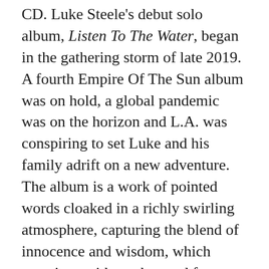CD. Luke Steele's debut solo album, Listen To The Water, began in the gathering storm of late 2019. A fourth Empire Of The Sun album was on hold, a global pandemic was on the horizon and L.A. was conspiring to set Luke and his family adrift on a new adventure. The album is a work of pointed words cloaked in a richly swirling atmosphere, capturing the blend of innocence and wisdom, which questions without the need for answers. Pedal steel dances among the acoustic guitars and percussive nuances.
Stoney & Meatloaf – Everything Under The Sun: The Motown Recordings 2xCD (Real Gone Music)